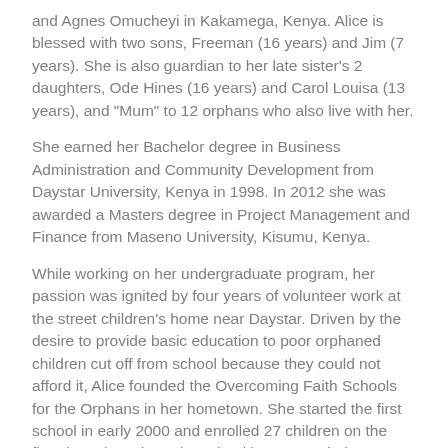and Agnes Omucheyi in Kakamega, Kenya. Alice is blessed with two sons, Freeman (16 years) and Jim (7 years). She is also guardian to her late sister's 2 daughters, Ode Hines (16 years) and Carol Louisa (13 years), and "Mum" to 12 orphans who also live with her.
She earned her Bachelor degree in Business Administration and Community Development from Daystar University, Kenya in 1998. In 2012 she was awarded a Masters degree in Project Management and Finance from Maseno University, Kisumu, Kenya.
While working on her undergraduate program, her passion was ignited by four years of volunteer work at the street children's home near Daystar. Driven by the desire to provide basic education to poor orphaned children cut off from school because they could not afford it, Alice founded the Overcoming Faith Schools for the Orphans in her hometown. She started the first school in early 2000 and enrolled 27 children on the first day. Since then, the school has expanded to establish three institutions in Kakamega, Nambale and Bunyore with a total enrollment of 998 children and 74 staff members.
Alice Atemo is a life member of Red Cross and sits on their regional board. She is past president and a current member of Soroptomist International, a service club that advocates for human rights and